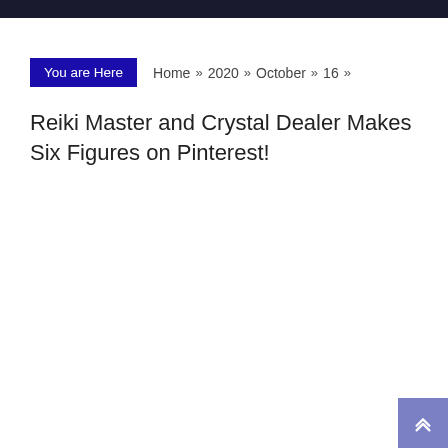You are Here   Home » 2020 » October » 16 »
Reiki Master and Crystal Dealer Makes Six Figures on Pinterest!